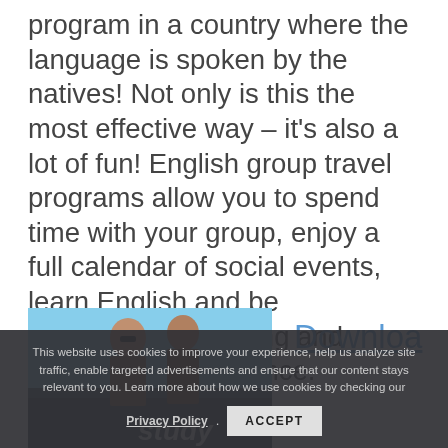program in a country where the language is spoken by the natives! Not only is this the most effective way – it's also a lot of fun! English group travel programs allow you to spend time with your group, enjoy a full calendar of social events, learn English and be guaranteed a fulfilling and memorable experience.
[Figure (photo): Photo of people wearing sunglasses outdoors, partially visible with a blue sky background. Text 'study' partially visible at bottom right.]
Downloa
This website uses cookies to improve your experience, help us analyze site traffic, enable targeted advertisements and ensure that our content stays relevant to you. Learn more about how we use cookies by checking our Privacy Policy. ACCEPT